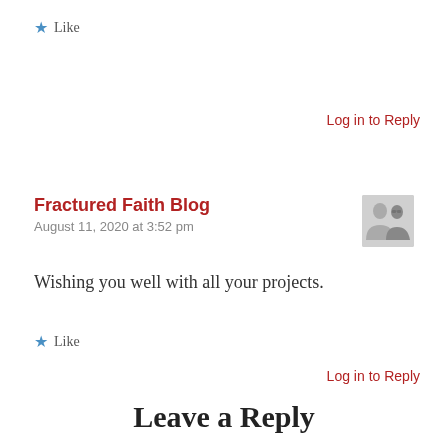★ Like
Log in to Reply
Fractured Faith Blog
August 11, 2020 at 3:52 pm
Wishing you well with all your projects.
★ Like
Log in to Reply
Leave a Reply